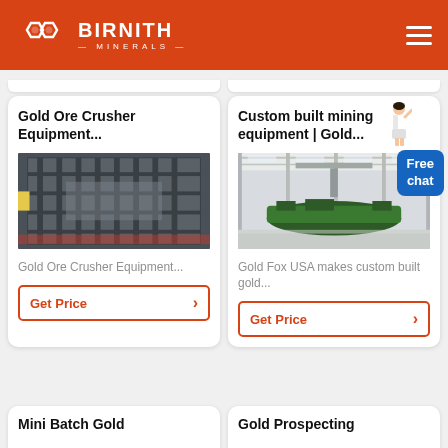BIRNITH MINERALS
Gold Ore Crusher Equipment...
[Figure (photo): Interior view of industrial gold ore crusher equipment with metal framework and machinery]
Gold Ore Crusher Equipment...
Get Price
Custom built mining equipment | Gold...
[Figure (photo): Large warehouse interior showing green mining equipment machinery on factory floor]
Gold Fox USA makes custom built gold...
Get Price
Free chat
Mini Batch Gold
Gold Prospecting